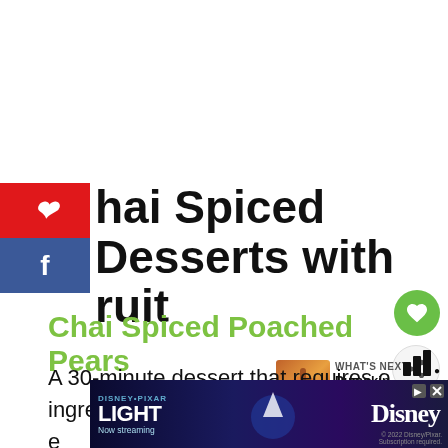hai Spiced Desserts with ruit
Chai Spiced Poached Pears
A 30-minute dessert that requires o ingredients, pears and chai concentrate! So e se
[Figure (screenshot): Disney Pixar Lightyear Now streaming advertisement banner]
[Figure (photo): Pumpkin Spice Chai thumbnail image]
WHAT'S NEXT → Pumpkin Spice Chai...